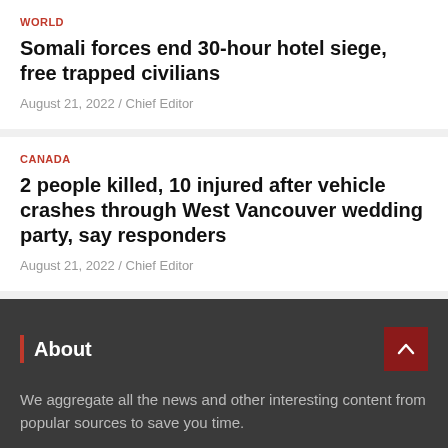WORLD
Somali forces end 30-hour hotel siege, free trapped civilians
August 21, 2022 / Chief Editor
CANADA
2 people killed, 10 injured after vehicle crashes through West Vancouver wedding party, say responders
August 21, 2022 / Chief Editor
About
We aggregate all the news and other interesting content from popular sources to save you time.